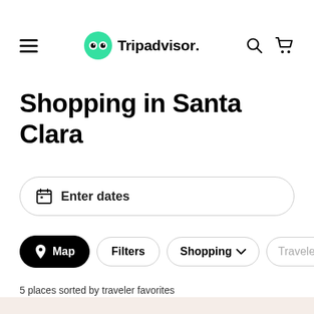Tripadvisor
Shopping in Santa Clara
Enter dates
Map
Filters
Shopping
Traveler f…
5 places sorted by traveler favorites